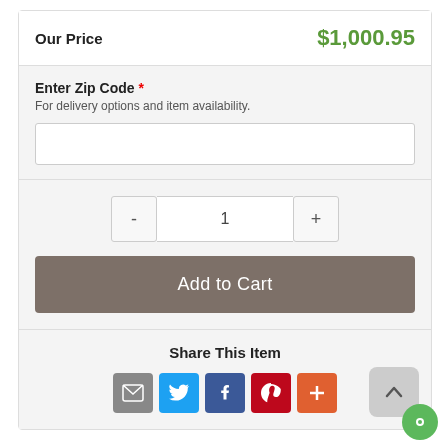Our Price   $1,000.95
Enter Zip Code *
For delivery options and item availability.
1 (quantity selector)
Add to Cart
Share This Item
[Figure (infographic): Social sharing icons: email, Twitter, Facebook, Pinterest, plus]